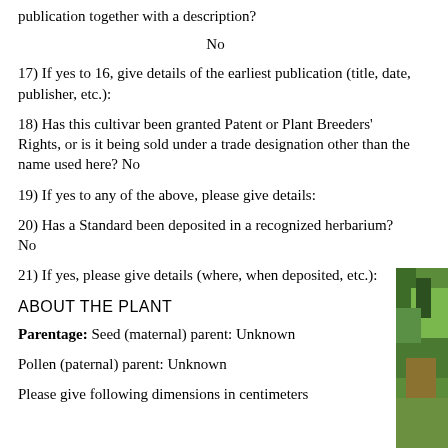publication together with a description?
No
17) If yes to 16, give details of the earliest publication (title, date, publisher, etc.):
18) Has this cultivar been granted Patent or Plant Breeders' Rights, or is it being sold under a trade designation other than the name used here? No
19) If yes to any of the above, please give details:
20) Has a Standard been deposited in a recognized herbarium? No
21) If yes, please give details (where, when deposited, etc.):
ABOUT THE PLANT
Parentage: Seed (maternal) parent: Unknown
Pollen (paternal) parent: Unknown
Please give following dimensions in centimeters
[Figure (photo): Partial photo of a plant visible at right edge of page]